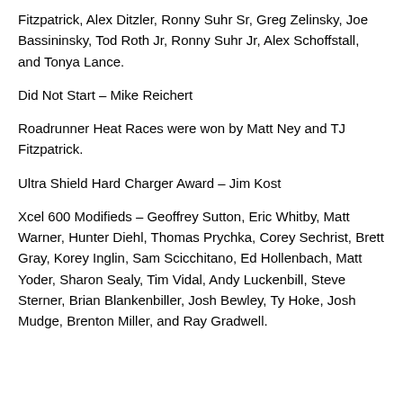Fitzpatrick, Alex Ditzler, Ronny Suhr Sr, Greg Zelinsky, Joe Bassininsky, Tod Roth Jr, Ronny Suhr Jr, Alex Schoffstall, and Tonya Lance.
Did Not Start – Mike Reichert
Roadrunner Heat Races were won by Matt Ney and TJ Fitzpatrick.
Ultra Shield Hard Charger Award – Jim Kost
Xcel 600 Modifieds – Geoffrey Sutton, Eric Whitby, Matt Warner, Hunter Diehl, Thomas Prychka, Corey Sechrist, Brett Gray, Korey Inglin, Sam Scicchitano, Ed Hollenbach, Matt Yoder, Sharon Sealy, Tim Vidal, Andy Luckenbill, Steve Sterner, Brian Blankenbiller, Josh Bewley, Ty Hoke, Josh Mudge, Brenton Miller, and Ray Gradwell.